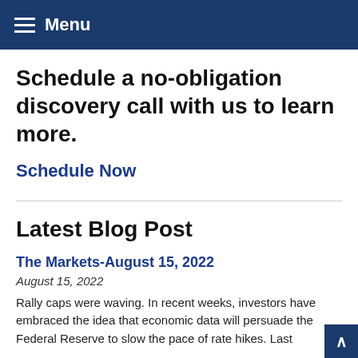Menu
Schedule a no-obligation discovery call with us to learn more.
Schedule Now
Latest Blog Post
The Markets-August 15, 2022
August 15, 2022
Rally caps were waving. In recent weeks, investors have embraced the idea that economic data will persuade the Federal Reserve to slow the pace of rate hikes. Last